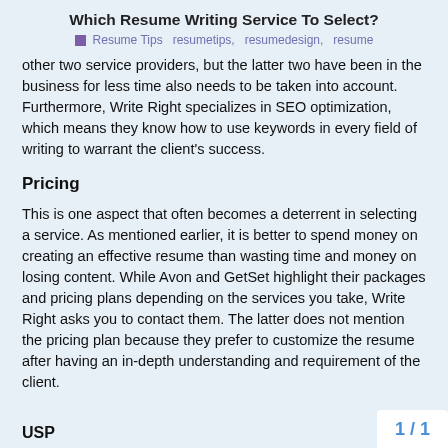Which Resume Writing Service To Select?
Resume Tips  resumetips,  resumedesign,  resume
other two service providers, but the latter two have been in the business for less time also needs to be taken into account. Furthermore, Write Right specializes in SEO optimization, which means they know how to use keywords in every field of writing to warrant the client's success.
Pricing
This is one aspect that often becomes a deterrent in selecting a service. As mentioned earlier, it is better to spend money on creating an effective resume than wasting time and money on losing content. While Avon and GetSet highlight their packages and pricing plans depending on the services you take, Write Right asks you to contact them. The latter does not mention the pricing plan because they prefer to customize the resume after having an in-depth understanding and requirement of the client.
USP
1 / 1